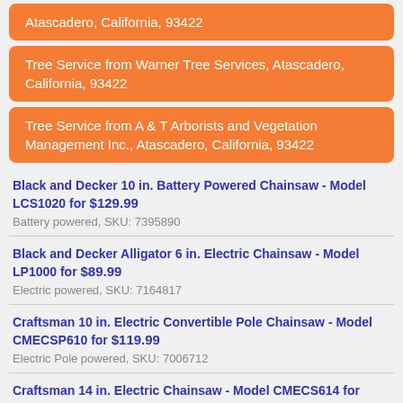Atascadero, California, 93422
Tree Service from Warner Tree Services, Atascadero, California, 93422
Tree Service from A & T Arborists and Vegetation Management Inc., Atascadero, California, 93422
Black and Decker 10 in. Battery Powered Chainsaw - Model LCS1020 for $129.99
Battery powered, SKU: 7395890
Black and Decker Alligator 6 in. Electric Chainsaw - Model LP1000 for $89.99
Electric powered, SKU: 7164817
Craftsman 10 in. Electric Convertible Pole Chainsaw - Model CMECSP610 for $119.99
Electric Pole powered, SKU: 7006712
Craftsman 14 in. Electric Chainsaw - Model CMECS614 for $69.99